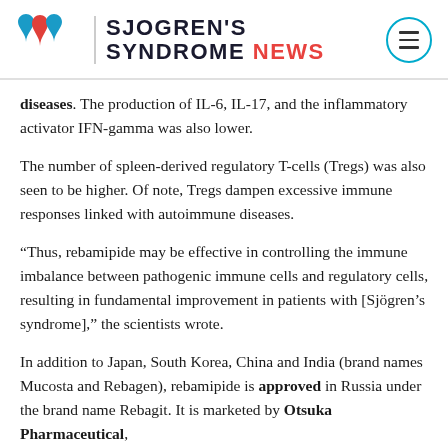Sjogren's Syndrome News
diseases. The production of IL-6, IL-17, and the inflammatory activator IFN-gamma was also lower.
The number of spleen-derived regulatory T-cells (Tregs) was also seen to be higher. Of note, Tregs dampen excessive immune responses linked with autoimmune diseases.
“Thus, rebamipide may be effective in controlling the immune imbalance between pathogenic immune cells and regulatory cells, resulting in fundamental improvement in patients with [Sjögren’s syndrome],” the scientists wrote.
In addition to Japan, South Korea, China and India (brand names Mucosta and Rebagen), rebamipide is approved in Russia under the brand name Rebagit. It is marketed by Otsuka Pharmaceutical,